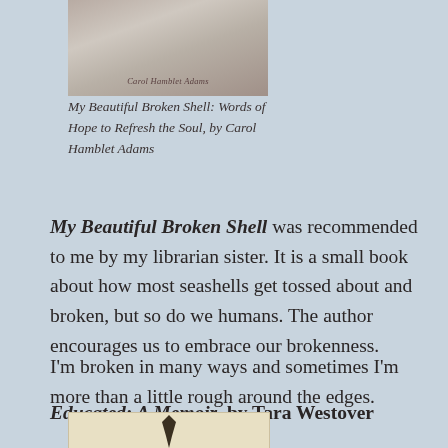[Figure (photo): Top portion of a book cover with muted pink/grey tones and decorative text]
My Beautiful Broken Shell: Words of Hope to Refresh the Soul, by Carol Hamblet Adams
My Beautiful Broken Shell was recommended to me by my librarian sister. It is a small book about how most seashells get tossed about and broken, but so do we humans. The author encourages us to embrace our brokenness.
I'm broken in many ways and sometimes I'm more than a little rough around the edges.
Educated: A Memoir, by Tara Westover
[Figure (photo): Bottom portion of a book cover showing a tie on a light yellow background]